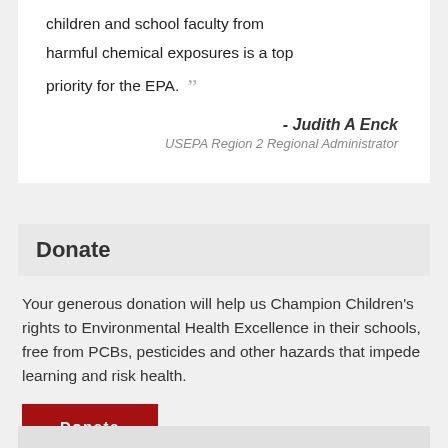children and school faculty from harmful chemical exposures is a top priority for the EPA.
- Judith A Enck
USEPA Region 2 Regional Administrator
Donate
Your generous donation will help us Champion Children's rights to Environmental Health Excellence in their schools, free from PCBs, pesticides and other hazards that impede learning and risk health.